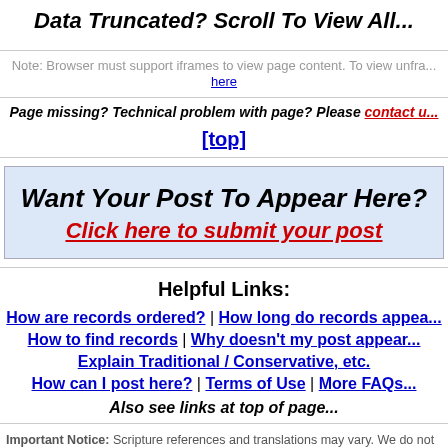Data Truncated? Scroll To View All...
Note: Browser must support iframes to view page content. To view unfra... here
Page missing? Technical problem with page? Please contact u...
[top]
Want Your Post To Appear Here?
Click here to submit your post
Helpful Links:
How are records ordered? | How long do records appea...
How to find records | Why doesn't my post appear...
Explain Traditional / Conservative, etc.
How can I post here? | Terms of Use | More FAQs...
Also see links at top of page...
Important Notice: Scripture references and translations may vary. We do not gua... categorization, referencing, accuracy, or anything else concerning any item herein... practices may no longer be binding under the New Covenant. We may change pun... capitalization, shorten items, etc. We caution that items herein may be out of on...